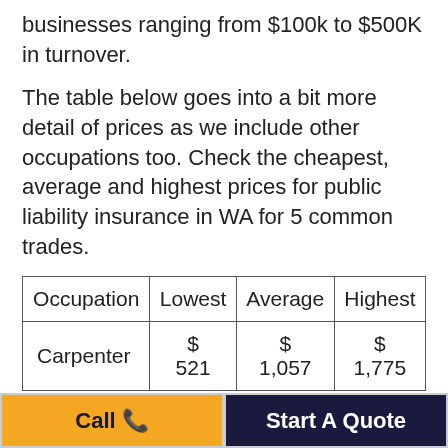businesses ranging from $100k to $500K in turnover.
The table below goes into a bit more detail of prices as we include other occupations too. Check the cheapest, average and highest prices for public liability insurance in WA for 5 common trades.
| Occupation | Lowest | Average | Highest |
| --- | --- | --- | --- |
| Carpenter | $
521 | $
1,057 | $
1,775 |
Call 📞   Start A Quote